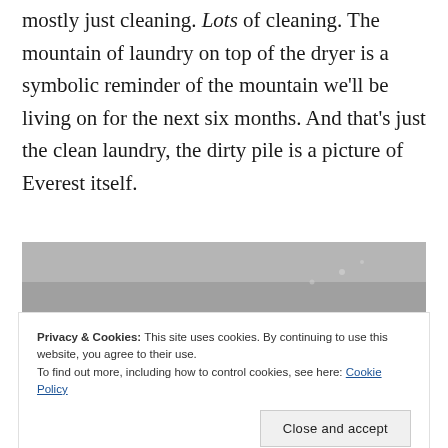mostly just cleaning. Lots of cleaning. The mountain of laundry on top of the dryer is a symbolic reminder of the mountain we'll be living on for the next six months. And that's just the clean laundry, the dirty pile is a picture of Everest itself.
[Figure (photo): Black and white photograph, partially visible, showing a landscape scene. The top portion is a grey sky and the bottom portion shows a dark rocky or mountainous terrain.]
Privacy & Cookies: This site uses cookies. By continuing to use this website, you agree to their use.
To find out more, including how to control cookies, see here: Cookie Policy